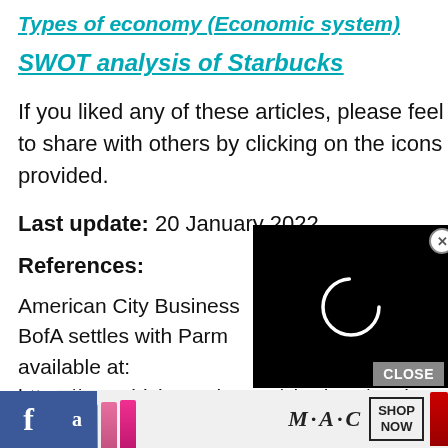Types of economy (Economic system)
SWOT analysis of Starbucks
If you liked any of these articles, please feel free to share with others by clicking on the icons provided.
Last update: 20 January 2022
References:
American City Business... BofA settles with Parma... available at: https://www.bizjournals.com/charlotte/storie (accessed 10 March 2019)
[Figure (screenshot): Black video player overlay with loading spinner circle]
[Figure (screenshot): MAC cosmetics advertisement banner with lipstick products and SHOP NOW button]